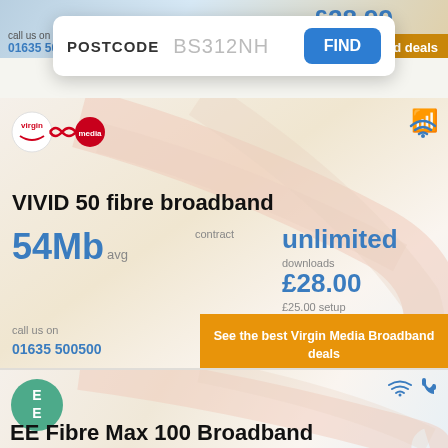£28.99
call us on
01635 500500
d deals
POSTCODE BS312NH
FIND
[Figure (logo): Virgin Media logo with infinity symbol]
VIVID 50 fibre broadband
54Mb avg
contract
unlimited
downloads
£28.00
£25.00 setup
call us on
01635 500500
See the best Virgin Media Broadband deals
[Figure (logo): EE logo — green circle with EE text]
EE Fibre Max 100 Broadband